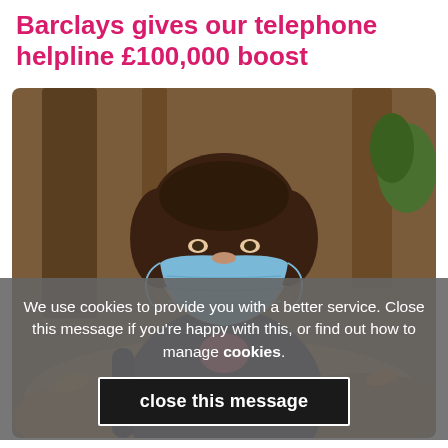Barclays gives our telephone helpline £100,000 boost
[Figure (photo): A woman wearing a blue surgical face mask outdoors, with brown hair pulled back, wearing a dark jacket with a pink top visible underneath, and a backpack strap visible. The background shows trees and fallen leaves.]
We use cookies to provide you with a better service. Close this message if you're happy with this, or find out how to manage cookies.
close this message